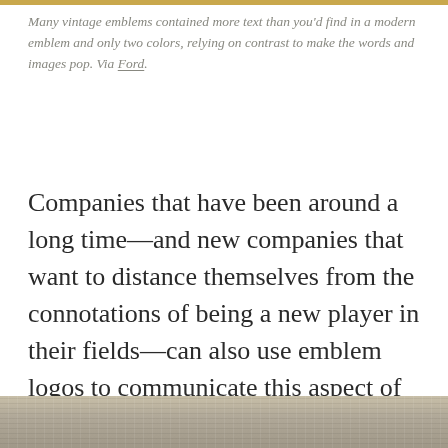Many vintage emblems contained more text than you'd find in a modern emblem and only two colors, relying on contrast to make the words and images pop. Via Ford.
Companies that have been around a long time—and new companies that want to distance themselves from the connotations of being a new player in their fields—can also use emblem logos to communicate this aspect of their brands. Having a long history (or even just looking the part) makes a brand appear to be a trustworthy provider of quality products and service.
[Figure (photo): A partial view of a vintage or textured image at the bottom of the page, showing a muted brownish-grey toned background, possibly an old photograph or illustration.]